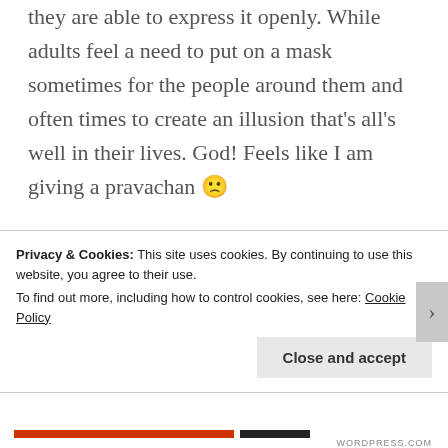they are able to express it openly. While adults feel a need to put on a mask sometimes for the people around them and often times to create an illusion that's all's well in their lives. God! Feels like I am giving a pravachan 🙁
Farreys! Yes, I'll need them very soon. Actually I am curious. How many chapters were posted in the previous
Privacy & Cookies: This site uses cookies. By continuing to use this website, you agree to their use.
To find out more, including how to control cookies, see here: Cookie Policy